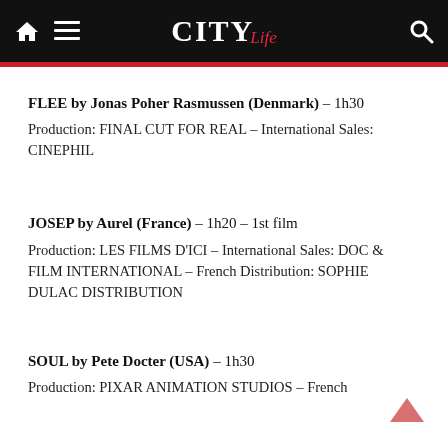CITY Life
FLEE by Jonas Poher Rasmussen (Denmark) – 1h30

Production: FINAL CUT FOR REAL – International Sales: CINEPHIL
JOSEP by Aurel (France) – 1h20 – 1st film

Production: LES FILMS D'ICI – International Sales: DOC & FILM INTERNATIONAL – French Distribution: SOPHIE DULAC DISTRIBUTION
SOUL by Pete Docter (USA) – 1h30

Production: PIXAR ANIMATION STUDIOS – French